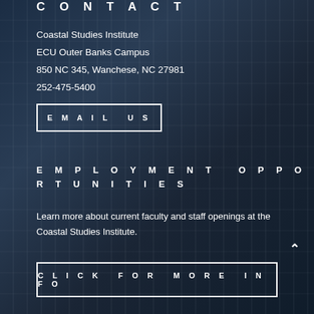CONTACT
Coastal Studies Institute
ECU Outer Banks Campus
850 NC 345, Wanchese, NC 27981
252-475-5400
EMAIL US
EMPLOYMENT OPPORTUNITIES
Learn more about current faculty and staff openings at the Coastal Studies Institute.
CLICK FOR MORE INFO